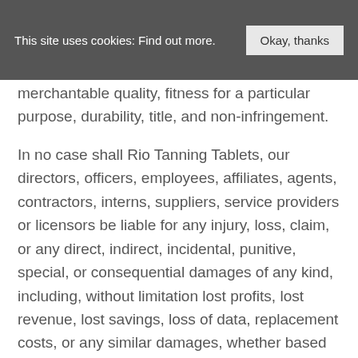This site uses cookies: Find out more.  Okay, thanks
merchantable quality, fitness for a particular purpose, durability, title, and non-infringement.
In no case shall Rio Tanning Tablets, our directors, officers, employees, affiliates, agents, contractors, interns, suppliers, service providers or licensors be liable for any injury, loss, claim, or any direct, indirect, incidental, punitive, special, or consequential damages of any kind, including, without limitation lost profits, lost revenue, lost savings, loss of data, replacement costs, or any similar damages, whether based in